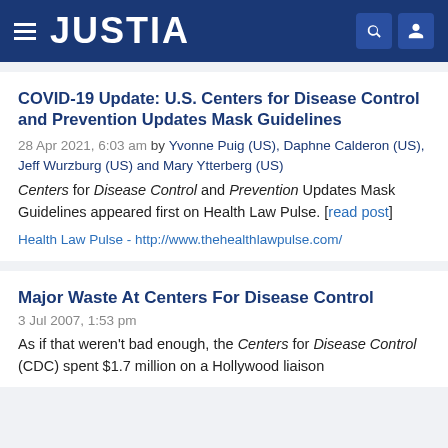JUSTIA
COVID-19 Update: U.S. Centers for Disease Control and Prevention Updates Mask Guidelines
28 Apr 2021, 6:03 am by Yvonne Puig (US), Daphne Calderon (US), Jeff Wurzburg (US) and Mary Ytterberg (US)
Centers for Disease Control and Prevention Updates Mask Guidelines appeared first on Health Law Pulse. [read post]
Health Law Pulse - http://www.thehealthlawpulse.com/
Major Waste At Centers For Disease Control
3 Jul 2007, 1:53 pm
As if that weren't bad enough, the Centers for Disease Control (CDC) spent $1.7 million on a Hollywood liaison